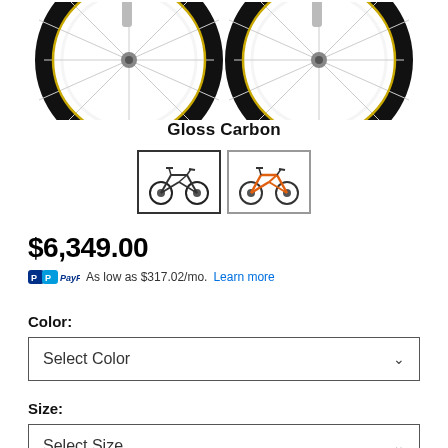[Figure (illustration): Two mountain bike wheels shown side by side, partial view, with black knobby tires and silver spokes, gold lettering on tires]
Gloss Carbon
[Figure (illustration): Two mountain bike thumbnail images side by side: left shows dark/black bike (active/selected, darker border), right shows orange bike]
$6,349.00
PayPal As low as $317.02/mo. Learn more
Color:
Select Color
Size:
Select Size